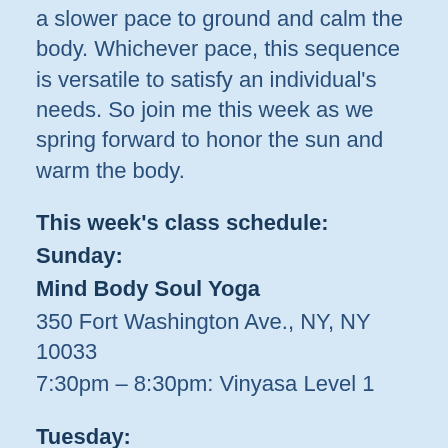a slower pace to ground and calm the body. Whichever pace, this sequence is versatile to satisfy an individual's needs. So join me this week as we spring forward to honor the sun and warm the body.
This week's class schedule:
Sunday:
Mind Body Soul Yoga
350 Fort Washington Ave., NY, NY 10033
7:30pm – 8:30pm: Vinyasa Level 1
Tuesday:
Mind Body Soul Yoga
350 Fort Washington Ave., NY, NY 10033
6:45am – 7:45 am: Hatha